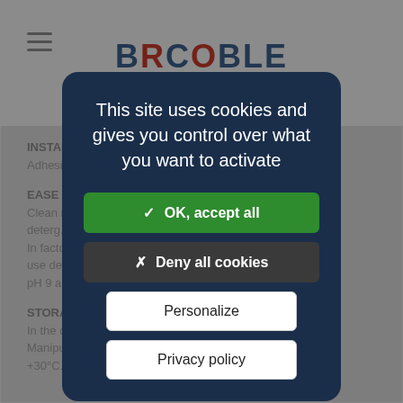[Figure (screenshot): Background webpage content partially visible behind a cookie consent modal. Shows a hamburger menu icon, a logo 'BRCOBLE' in blue/red, and partially visible text sections about INSTALLATION, EASE OF CLEANING, and STORAGE.]
This site uses cookies and gives you control over what you want to activate
✓ OK, accept all
✗ Deny all cookies
Personalize
Privacy policy